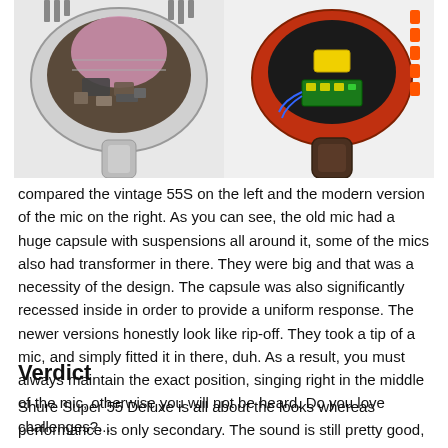[Figure (photo): Two cutaway photos of microphones side by side: vintage 55S on the left (silver body, large capsule with suspensions, old components) and modern version on the right (red/orange body, circuit board visible, yellow capacitor, modern internals).]
compared the vintage 55S on the left and the modern version of the mic on the right. As you can see, the old mic had a huge capsule with suspensions all around it, some of the mics also had transformer in there. They were big and that was a necessity of the design. The capsule was also significantly recessed inside in order to provide a uniform response. The newer versions honestly look like rip-off. They took a tip of a mic, and simply fitted it in there, duh. As a result, you must always maintain the exact position, singing right in the middle of the mic, otherwise you will not be heard. Do you love challenges?...
Verdict
Shure Super 55 Deluxe is all about the looks whereas performance is only secondary. The sound is still pretty good, and it definitely surpasses that of the 55SH, its century-old cardioid brother. Nevertheless, it barely stands up